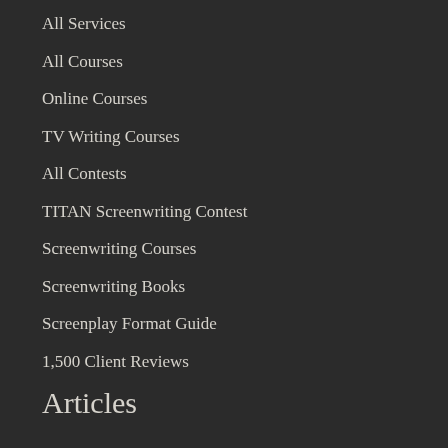All Services
All Courses
Online Courses
TV Writing Courses
All Contests
TITAN Screenwriting Contest
Screenwriting Courses
Screenwriting Books
Screenplay Format Guide
1,500 Client Reviews
Articles